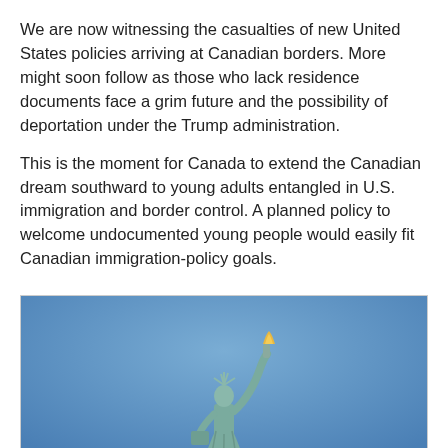We are now witnessing the casualties of new United States policies arriving at Canadian borders. More might soon follow as those who lack residence documents face a grim future and the possibility of deportation under the Trump administration.
This is the moment for Canada to extend the Canadian dream southward to young adults entangled in U.S. immigration and border control. A planned policy to welcome undocumented young people would easily fit Canadian immigration-policy goals.
[Figure (photo): Photo of the Statue of Liberty from below against a blue sky, showing the upper portion of the statue with torch raised.]